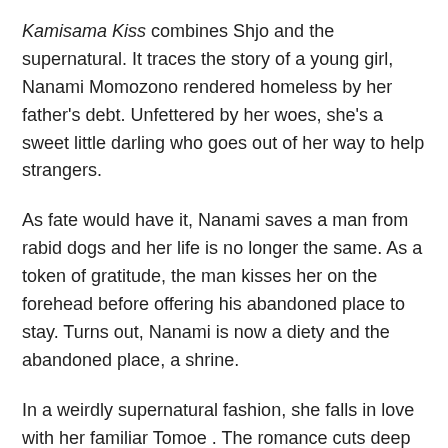Kamisama Kiss combines Shjo and the supernatural. It traces the story of a young girl, Nanami Momozono rendered homeless by her father's debt. Unfettered by her woes, she's a sweet little darling who goes out of her way to help strangers.
As fate would have it, Nanami saves a man from rabid dogs and her life is no longer the same. As a token of gratitude, the man kisses her on the forehead before offering his abandoned place to stay. Turns out, Nanami is now a diety and the abandoned place, a shrine.
In a weirdly supernatural fashion, she falls in love with her familiar Tomoe . The romance cuts deep as it explores the range of love between humans and nonhumans.
Read Also:  How Much Do Voice Actors Make Anime